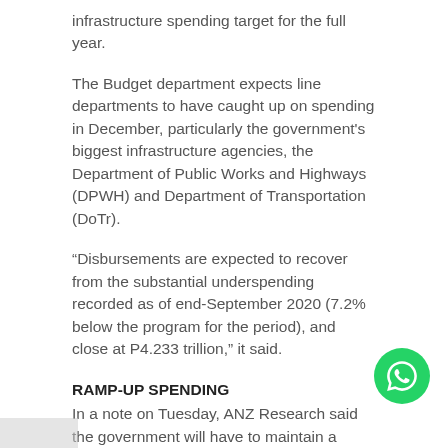infrastructure spending target for the full year.
The Budget department expects line departments to have caught up on spending in December, particularly the government's biggest infrastructure agencies, the Department of Public Works and Highways (DPWH) and Department of Transportation (DoTr).
“Disbursements are expected to recover from the substantial underspending recorded as of end-September 2020 (7.2% below the program for the period), and close at P4.233 trillion,” it said.
RAMP-UP SPENDING
In a note on Tuesday, ANZ Research said the government will have to maintain a supportive fiscal policy over the next two